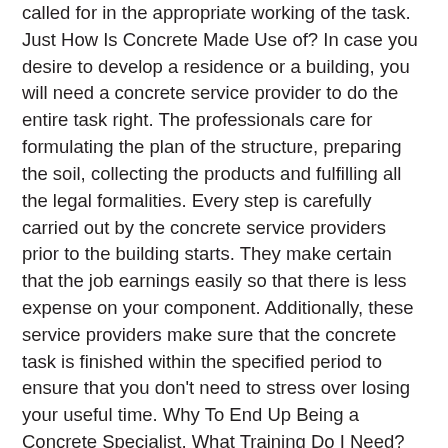called for in the appropriate working of the task. Just How Is Concrete Made Use of? In case you desire to develop a residence or a building, you will need a concrete service provider to do the entire task right. The professionals care for formulating the plan of the structure, preparing the soil, collecting the products and fulfilling all the legal formalities. Every step is carefully carried out by the concrete service providers prior to the building starts. They make certain that the job earnings easily so that there is less expense on your component. Additionally, these service providers make sure that the concrete task is finished within the specified period to ensure that you don't need to stress over losing your useful time. Why To End Up Being a Concrete Specialist, What Training Do I Need? There are various universities that provide on the internet programs in addition to on-campus training for individuals wanting to come to be a concrete contractor. Nevertheless, the individual should hold a valid driving license from his/her very own federal government. In situation one holds a license, he/she can look for work at any kind of building website across the nation. Nonetheless, there are particular points that a person need to think about before beginning an occupation in concrete building. If you wish to begin a career in household concrete